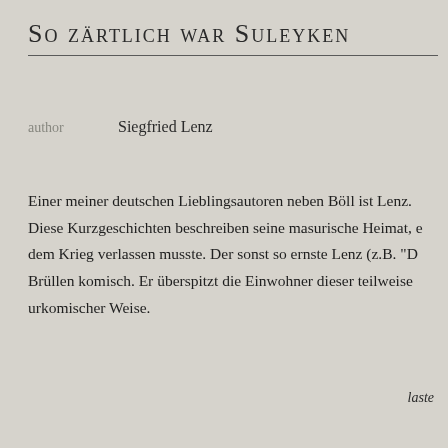So zärtlich war Suleyken
author	Siegfried Lenz
Einer meiner deutschen Lieblingsautoren neben Böll ist Lenz. Diese Kurzgeschichten beschreiben seine masurische Heimat, die er nach dem Krieg verlassen musste. Der sonst so ernste Lenz (z.B. "D... Brüllen komisch. Er überspitzt die Einwohner dieser teilweise urkomischer Weise.
laste